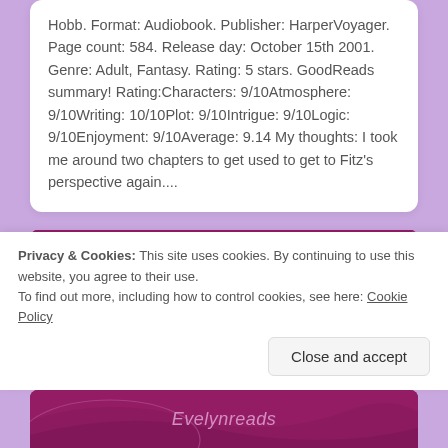Hobb. Format: Audiobook. Publisher: HarperVoyager. Page count: 584. Release day: October 15th 2001. Genre: Adult, Fantasy. Rating: 5 stars. GoodReads summary! Rating:Characters: 9/10Atmosphere: 9/10Writing: 10/10Plot: 9/10Intrigue: 9/10Logic: 9/10Enjoyment: 9/10Average: 9.14 My thoughts: I took me around two chapters to get used to get to Fitz's perspective again....
Privacy & Cookies: This site uses cookies. By continuing to use this website, you agree to their use.
To find out more, including how to control cookies, see here: Cookie Policy
Close and accept
[Figure (illustration): Dark magenta/purple decorative banner with flowing curved lines]
Evelynreads